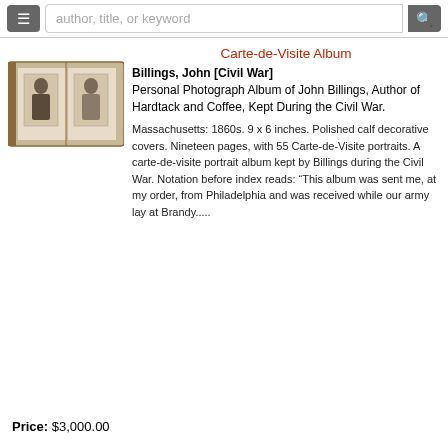author, title, or keyword
[Figure (photo): A carte-de-visite album open showing two portrait photographs]
Carte-de-Visite Album
Billings, John [Civil War]
Personal Photograph Album of John Billings, Author of Hardtack and Coffee, Kept During the Civil War.
Massachusetts: 1860s. 9 x 6 inches. Polished calf decorative covers. Nineteen pages, with 55 Carte-de-Visite portraits. A carte-de-visite portrait album kept by Billings during the Civil War. Notation before index reads: “This album was sent me, at my order, from Philadelphia and was received while our army lay at Brandy.....
Price: $3,000.00